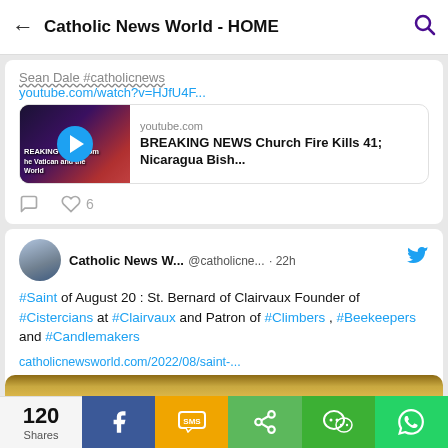Catholic News World - HOME
youtube.com/watch?v=HJfU4F...
[Figure (screenshot): YouTube video thumbnail showing Breaking News from the Vatican and the World with play button overlay]
youtube.com
BREAKING NEWS Church Fire Kills 41; Nicaragua Bish...
6 likes
Catholic News W... @catholicne... · 22h
#Saint of August 20 : St. Bernard of Clairvaux Founder of #Cistercians at #Clairvaux and Patron of #Climbers , #Beekeepers and #Candlemakers
catholicnewsworld.com/2022/08/saint-...
[Figure (photo): Bottom portion of a religious image partially visible]
120 Shares